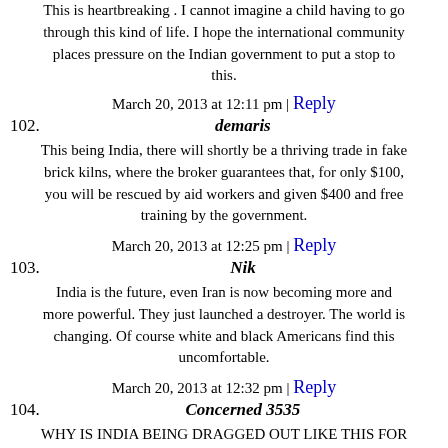This is heartbreaking . I cannot imagine a child having to go through this kind of life. I hope the international community places pressure on the Indian government to put a stop to this.
March 20, 2013 at 12:11 pm | Reply
102. demaris
This being India, there will shortly be a thriving trade in fake brick kilns, where the broker guarantees that, for only $100, you will be rescued by aid workers and given $400 and free training by the government.
March 20, 2013 at 12:25 pm | Reply
103. Nik
India is the future, even Iran is now becoming more and more powerful. They just launched a destroyer. The world is changing. Of course white and black Americans find this uncomfortable.
March 20, 2013 at 12:32 pm | Reply
104. Concerned 3535
WHY IS INDIA BEING DRAGGED OUT LIKE THIS FOR LASHING BY REST OF THE WORLD VIA CNN? WHAT